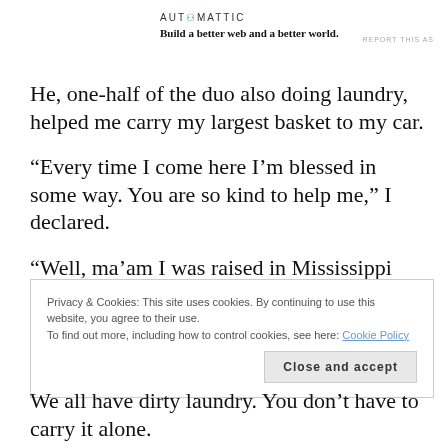AUTOMATTIC
Build a better web and a better world.
REPORT THIS AS
He, one-half of the duo also doing laundry, helped me carry my largest basket to my car.
“Every time I come here I’m blessed in some way. You are so kind to help me,” I declared.
“Well, ma’am I was raised in Mississippi and if my Mom were alive she would’ve kicked my butt for not helping! That’s
Privacy & Cookies: This site uses cookies. By continuing to use this website, you agree to their use.
To find out more, including how to control cookies, see here: Cookie Policy
Close and accept
We all have dirty laundry. You don’t have to carry it alone.